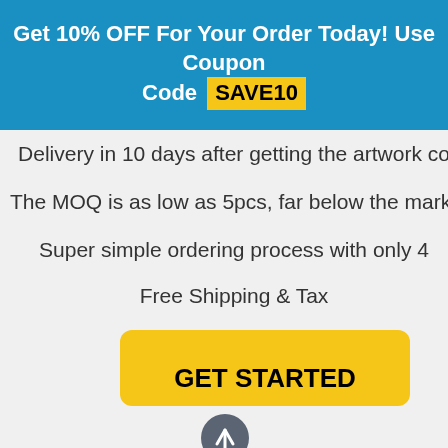Get 10% OFF For Your Order Today! Use Coupon Code SAVE10
Delivery in 10 days after getting the artwork co…
The MOQ is as low as 5pcs, far below the market l…
Super simple ordering process with only 4…
Free Shipping & Tax
[Figure (other): GET STARTED button (yellow, rounded) and a scroll-to-top circular button below it]